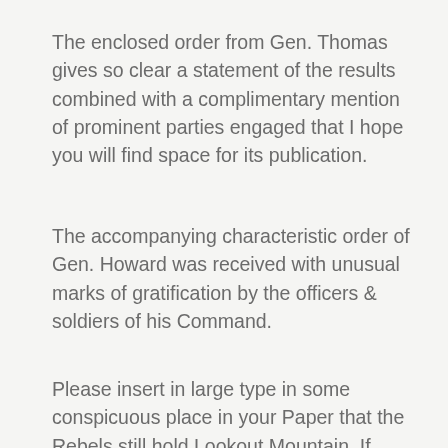The enclosed order from Gen. Thomas gives so clear a statement of the results combined with a complimentary mention of prominent parties engaged that I hope you will find space for its publication.
The accompanying characteristic order of Gen. Howard was received with unusual marks of gratification by the officers & soldiers of his Command.
Please insert in large type in some conspicuous place in your Paper that the Rebels still hold Lookout Mountain. If some of the Editors of Northern Newspapers or some Correspondents who furnish vivid accounts of scenes and operations here, though